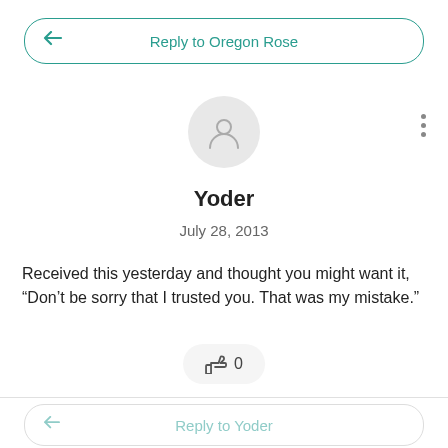[Figure (screenshot): Reply to Oregon Rose button with teal border and back arrow icon]
[Figure (illustration): Grey circular avatar with user silhouette icon]
Yoder
July 28, 2013
Received this yesterday and thought you might want it, “Don’t be sorry that I trusted you. That was my mistake.”
[Figure (other): Like button showing thumbs up icon and count 0]
[Figure (other): Reply to Yoder button with grey border and back arrow icon]